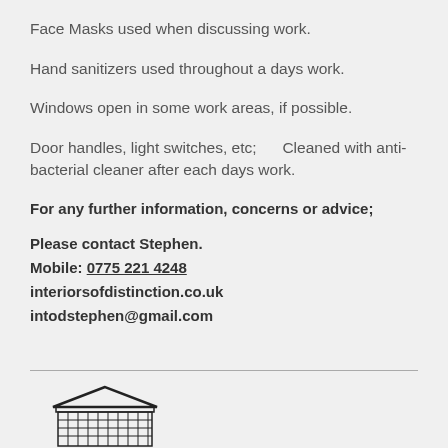Face Masks used when discussing work.
Hand sanitizers used throughout a days work.
Windows open in some work areas, if possible.
Door handles, light switches, etc;      Cleaned with anti-bacterial cleaner after each days work.
For any further information, concerns or advice;
Please contact Stephen.
Mobile: 0775 221 4248
interiorsofdistinction.co.uk
intodstephen@gmail.com
[Figure (logo): Building/institution logo icon at bottom of page]